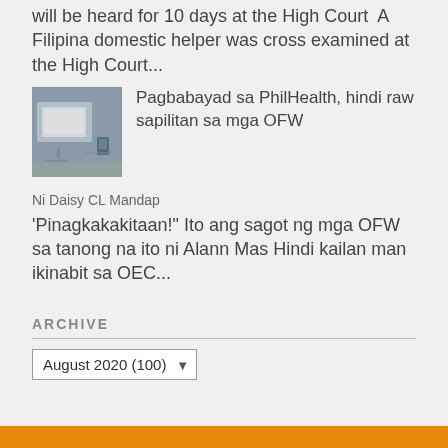will be heard for 10 days at the High Court  A Filipina domestic helper was cross examined at the High Court...
[Figure (photo): thumbnail photo of a room with people and a projector screen]
Pagbabayad sa PhilHealth, hindi raw sapilitan sa mga OFW
Ni Daisy CL Mandap
'Pinagkakakitaan!" Ito ang sagot ng mga OFW sa tanong na ito ni Alann Mas Hindi kailan man ikinabit sa OEC...
ARCHIVE
August 2020 (100)